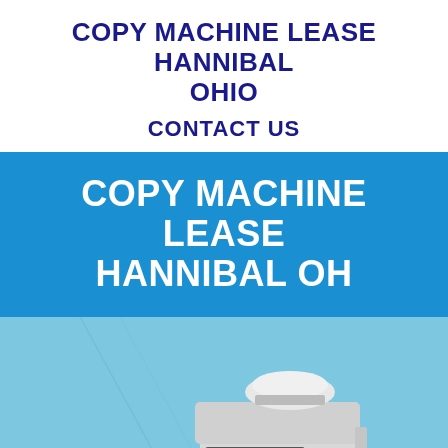COPY MACHINE LEASE HANNIBAL OHIO
CONTACT US
COPY MACHINE LEASE HANNIBAL OH
[Figure (photo): Photo of a Brother brand multifunction laser printer/copier on a light blue background]